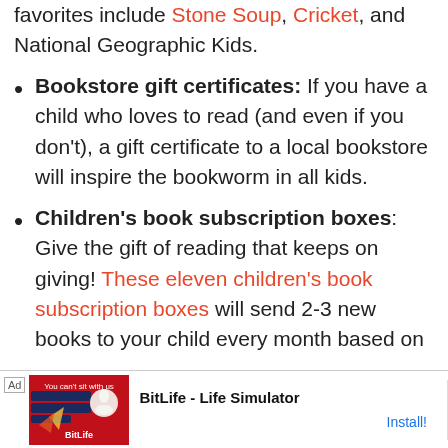favorites include Stone Soup, Cricket, and National Geographic Kids.
Bookstore gift certificates: If you have a child who loves to read (and even if you don't), a gift certificate to a local bookstore will inspire the bookworm in all kids.
Children's book subscription boxes: Give the gift of reading that keeps on giving! These eleven children's book subscription boxes will send 2-3 new books to your child every month based on
[Figure (screenshot): Advertisement banner for BitLife - Life Simulator app with red game graphic and Install button]